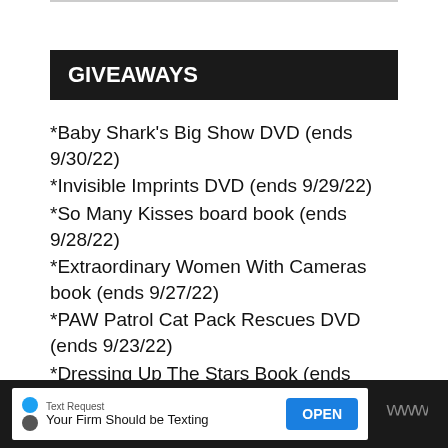GIVEAWAYS
*Baby Shark's Big Show DVD (ends 9/30/22)
*Invisible Imprints DVD (ends 9/29/22)
*So Many Kisses board book (ends 9/28/22)
*Extraordinary Women With Cameras book (ends 9/27/22)
*PAW Patrol Cat Pack Rescues DVD (ends 9/23/22)
*Dressing Up The Stars Book (ends 9/21/22)
*Donbass DVD (ends 9/20/22)
[Figure (screenshot): Advertisement banner: Text Request - Your Firm Should be Texting - OPEN button, with app logo on right]